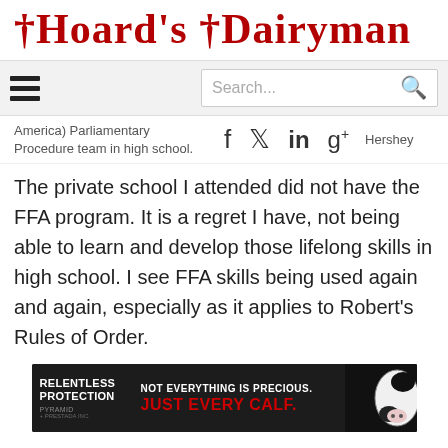Hoard's Dairyman
America) Parliamentary Procedure team in high school.
The private school I attended did not have the FFA program. It is a regret I have, not being able to learn and develop those lifelong skills in high school. I see FFA skills being used again and again, especially as it applies to Robert's Rules of Order.
[Figure (other): Advertisement banner: Relentless Protection by Pyramid. Text reads 'NOT EVERYTHING IS PRECIOUS. JUST EVERY CALF.' with image of a calf on the right.]